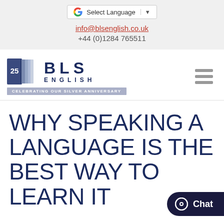[Figure (screenshot): Google Translate 'Select Language' dropdown button with Google G logo and dropdown arrow]
info@blsenglish.co.uk
+44 (0)1284 765511
[Figure (logo): BLS English logo with 25th anniversary badge, books icon, text 'B L S ENGLISH' and tagline 'CELEBRATING OUR SILVER ANNIVERSARY']
[Figure (other): Hamburger menu icon (three horizontal grey bars)]
WHY SPEAKING A LANGUAGE IS THE BEST WAY TO LEARN IT
[Figure (other): Chat button overlay with dark navy background, circle icon, and 'Chat' text]